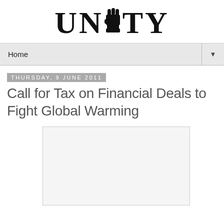UNITY
Home
Thursday, 9 June 2011
Call for Tax on Financial Deals to Fight Global Warming
[Figure (photo): Empty rectangular image placeholder below the article title]